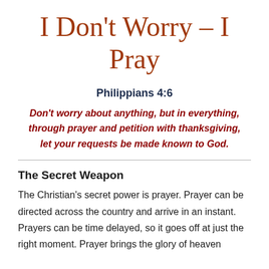I Don't Worry – I Pray
Philippians 4:6
Don't worry about anything, but in everything, through prayer and petition with thanksgiving, let your requests be made known to God.
The Secret Weapon
The Christian's secret power is prayer. Prayer can be directed across the country and arrive in an instant. Prayers can be time delayed, so it goes off at just the right moment. Prayer brings the glory of heaven